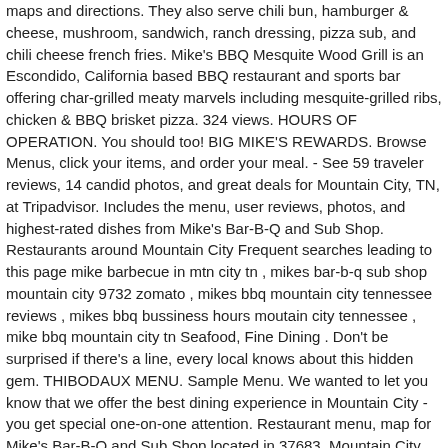maps and directions. They also serve chili bun, hamburger & cheese, mushroom, sandwich, ranch dressing, pizza sub, and chili cheese french fries. Mike's BBQ Mesquite Wood Grill is an Escondido, California based BBQ restaurant and sports bar offering char-grilled meaty marvels including mesquite-grilled ribs, chicken & BBQ brisket pizza. 324 views. HOURS OF OPERATION. You should too! BIG MIKE'S REWARDS. Browse Menus, click your items, and order your meal. - See 59 traveler reviews, 14 candid photos, and great deals for Mountain City, TN, at Tripadvisor. Includes the menu, user reviews, photos, and highest-rated dishes from Mike's Bar-B-Q and Sub Shop. Restaurants around Mountain City Frequent searches leading to this page mike barbecue in mtn city tn , mikes bar-b-q sub shop mountain city 9732 zomato , mikes bbq mountain city tennessee reviews , mikes bbq bussiness hours moutain city tennessee , mike bbq mountain city tn Seafood, Fine Dining . Don't be surprised if there's a line, every local knows about this hidden gem. THIBODAUX MENU. Sample Menu. We wanted to let you know that we offer the best dining experience in Mountain City - you get special one-on-one attention. Restaurant menu, map for Mike's Bar-B-Q and Sub Shop located in 37683, Mountain City TN, 2591 S Shady St. 118b W Main St. Mountain City, TN 37683. Our NEW hours Thursday -Sunday 12:00-5:15. Mike's Bar-B-Q and Sub Shop. View the menu for Mike's Bar-B-Q & Sub Shop and restaurants in